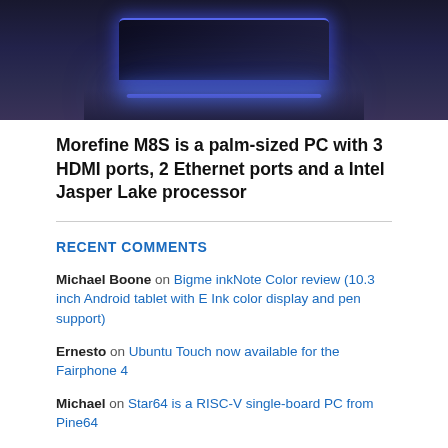[Figure (photo): Dark-colored palm-sized mini PC with blue LED lighting along the top edge, shown from an angled above perspective against a dark gradient background.]
Morefine M8S is a palm-sized PC with 3 HDMI ports, 2 Ethernet ports and a Intel Jasper Lake processor
RECENT COMMENTS
Michael Boone on Bigme inkNote Color review (10.3 inch Android tablet with E Ink color display and pen support)
Ernesto on Ubuntu Touch now available for the Fairphone 4
Michael on Star64 is a RISC-V single-board PC from Pine64
Grant Russell on AYA Neo Slide progress update (handheld gaming PC with slide-out keyboard and Ryzen 7 6800U)
guilever on Star64 is a RISC-V single-board PC from Pine64